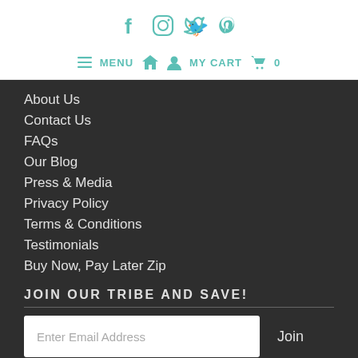Social icons: Facebook, Instagram, Twitter, Pinterest
MENU  [home icon]  [user icon]  MY CART  [cart icon]  0
About Us
Contact Us
FAQs
Our Blog
Press & Media
Privacy Policy
Terms & Conditions
Testimonials
Buy Now, Pay Later Zip
JOIN OUR TRIBE AND SAVE!
Enter Email Address
Join
Questions? We can help.
Chat with us now.